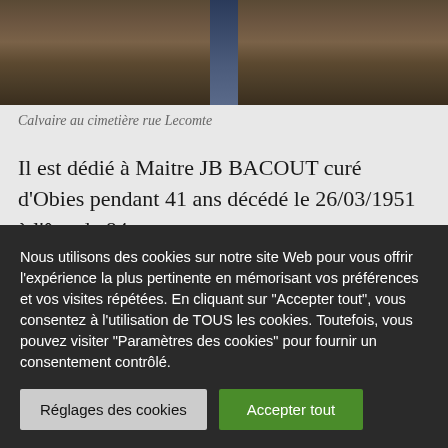[Figure (photo): Photo of a calvaire (wayside cross) at a cemetery, showing rocky/earthy ground with a dark metal cross visible in the center]
Calvaire au cimetière rue Lecomte
Il est dédié à Maitre JB BACOUT curé d'Obies pendant 41 ans décédé le 26/03/1951 à l'âge de 84 ans.
Nous utilisons des cookies sur notre site Web pour vous offrir l'expérience la plus pertinente en mémorisant vos préférences et vos visites répétées. En cliquant sur "Accepter tout", vous consentez à l'utilisation de TOUS les cookies. Toutefois, vous pouvez visiter "Paramètres des cookies" pour fournir un consentement contrôlé.